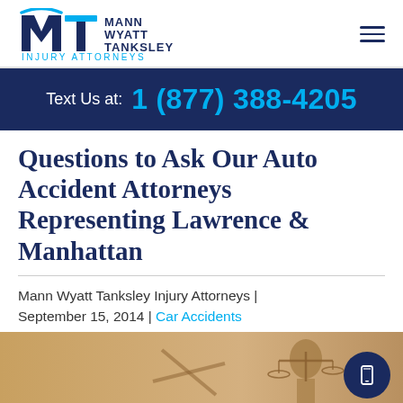[Figure (logo): Mann Wyatt Tanksley Injury Attorneys logo with MW monogram in navy and cyan]
Text Us at: 1 (877) 388-4205
Questions to Ask Our Auto Accident Attorneys Representing Lawrence & Manhattan
Mann Wyatt Tanksley Injury Attorneys | September 15, 2014 | Car Accidents
[Figure (photo): Lady Justice statue with scales and blindfold, golden tones]